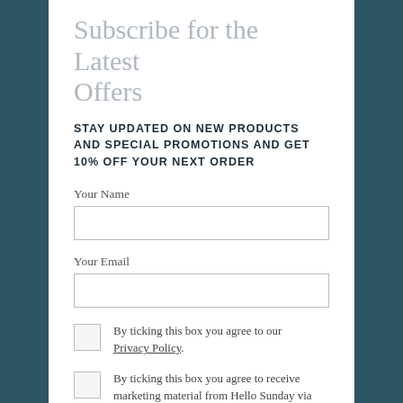Subscribe for the Latest Offers
STAY UPDATED ON NEW PRODUCTS AND SPECIAL PROMOTIONS AND GET 10% OFF YOUR NEXT ORDER
Your Name
Your Email
By ticking this box you agree to our Privacy Policy.
By ticking this box you agree to receive marketing material from Hello Sunday via email or telephone.
SEND